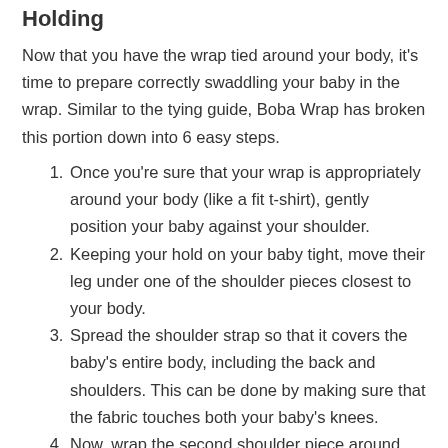Holding
Now that you have the wrap tied around your body, it's time to prepare correctly swaddling your baby in the wrap. Similar to the tying guide, Boba Wrap has broken this portion down into 6 easy steps.
Once you're sure that your wrap is appropriately around your body (like a fit t-shirt), gently position your baby against your shoulder.
Keeping your hold on your baby tight, move their leg under one of the shoulder pieces closest to your body.
Spread the shoulder strap so that it covers the baby's entire body, including the back and shoulders. This can be done by making sure that the fabric touches both your baby's knees.
Now, wrap the second shoulder piece around the baby and spread the fabric out again.
Make sure the fabric is spread out from each backside of